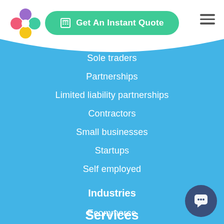[Figure (logo): Colorful flower/cross logo with pink, purple, teal, and yellow circles]
[Figure (infographic): Green rounded button with calculator icon and text 'Get An Instant Quote']
[Figure (other): Hamburger menu icon (three horizontal lines) in top right corner]
Sole traders
Partnerships
Limited liability partnerships
Contractors
Small businesses
Startups
Self employed
Industries
Ecommerce
Medical
Property
Services